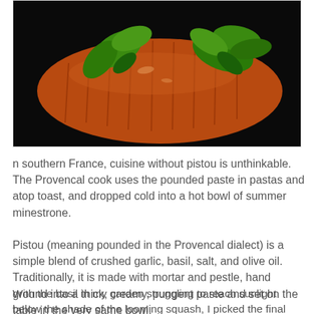[Figure (photo): Close-up photograph of a baked sweet potato or similar reddish-brown vegetable with green herb leaves (basil or similar) on a dark background.]
n southern France, cuisine without pistou is unthinkable. The Provencal cook uses the pounded paste in pastas and atop toast, and dropped cold into a hot bowl of summer minestrone.
Pistou (meaning pounded in the Provencal dialect) is a simple blend of crushed garlic, basil, salt, and olive oil. Traditionally, it is made with mortar and pestle, hand ground into a thick, creamy, pungent paste and set on the table in the very same bowl.
With the basil in my garden struggling to reach sunlight below the shade of the looming squash, I picked the final leaves today and declared a gourd victory. The thin, pointed herb leaves wouldn't last long off the stalk, and so I pulled out our large, wooden mortar and dusty pestle and wiped them down for a morning's use.